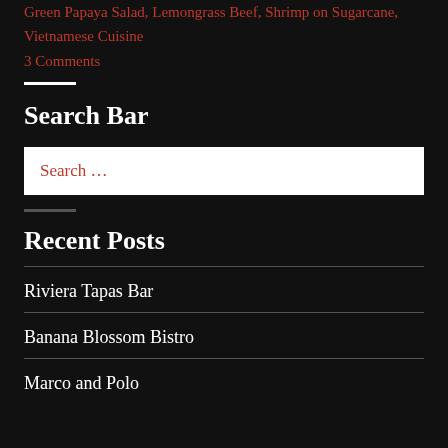Green Papaya Salad, Lemongrass Beef, Shrimp on Sugarcane, Vietnamese Cuisine
3 Comments
Search Bar
Search …
Recent Posts
Riviera Tapas Bar
Banana Blossom Bistro
Marco and Polo